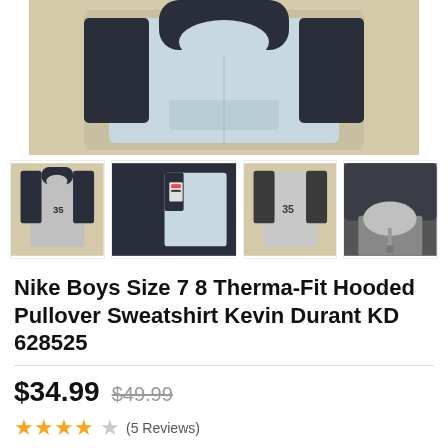[Figure (photo): Main product photo: Nike Boys Therma-Fit Hooded Pullover Sweatshirt, light blue/grey body with dark navy sleeves and hood, laid flat on a beige woven surface]
[Figure (photo): Thumbnail 1: Full front view of the sweatshirt showing KD #35 logo]
[Figure (photo): Thumbnail 2: Close-up of the tag and dark navy sleeve/side panel]
[Figure (photo): Thumbnail 3: Back view of the sweatshirt showing KD #35 logo]
[Figure (photo): Thumbnail 4: Close-up of the hood interior and zipper area in dark grey/navy]
Nike Boys Size 7 8 Therma-Fit Hooded Pullover Sweatshirt Kevin Durant KD 628525
$34.99  $49.99
★★★★☆ (5 Reviews)